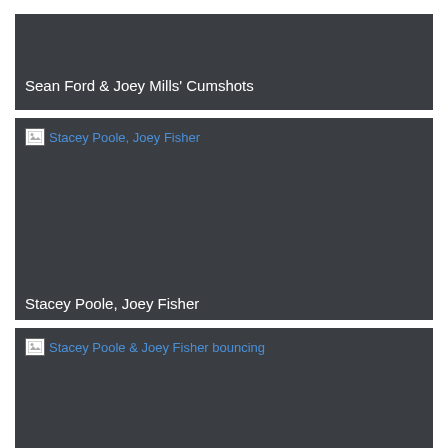[Figure (other): Card with dark background showing title: Sean Ford & Joey Mills' Cumshots]
Sean Ford & Joey Mills' Cumshots
[Figure (other): Card with dark background, broken image placeholder labeled Stacey Poole, Joey Fisher, and title text at bottom]
Stacey Poole, Joey Fisher
[Figure (other): Card with dark background, broken image placeholder labeled Stacey Poole & Joey Fisher bouncing]